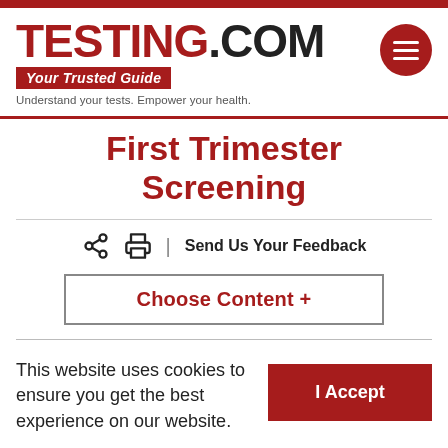TESTING.COM — Your Trusted Guide — Understand your tests. Empower your health.
First Trimester Screening
Send Us Your Feedback
Choose Content +
This website uses cookies to ensure you get the best experience on our website.
I Accept